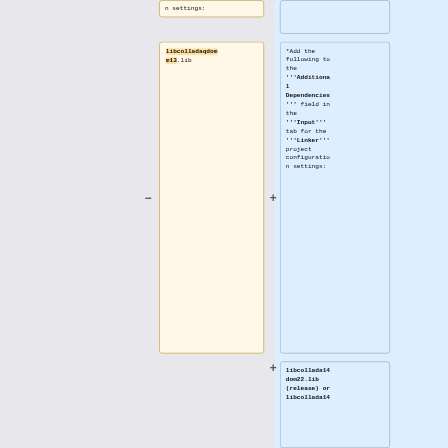n settings:
libcolladadom13.lib
*Add the following to the '''Additional Dependencies''' field in the '''Input''' tab for the '''Linker''' project configuration settings:
libcollada14dom22.lib (release) or libcollada14